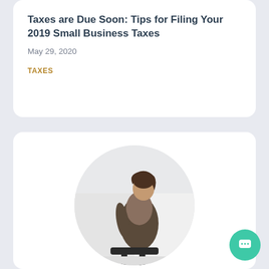Taxes are Due Soon: Tips for Filing Your 2019 Small Business Taxes
May 29, 2020
TAXES
[Figure (photo): Circular cropped photo of a person standing in an office environment, seen from behind, wearing a dark jacket]
Updated IRS Form W-4: What Small Businesses Need to Know